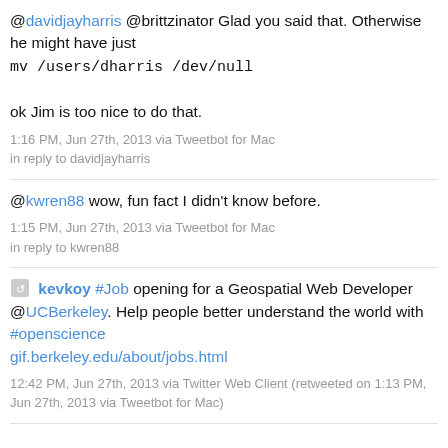@davidjayharris @brittzinator Glad you said that. Otherwise he might have just mv /users/dharris /dev/null

ok Jim is too nice to do that.
1:16 PM, Jun 27th, 2013 via Tweetbot for Mac in reply to davidjayharris
@kwren88 wow, fun fact I didn't know before.
1:15 PM, Jun 27th, 2013 via Tweetbot for Mac in reply to kwren88
kevkoy #Job opening for a Geospatial Web Developer @UCBerkeley. Help people better understand the world with #openscience gif.berkeley.edu/about/jobs.html
12:42 PM, Jun 27th, 2013 via Twitter Web Client (retweeted on 1:13 PM, Jun 27th, 2013 via Tweetbot for Mac)